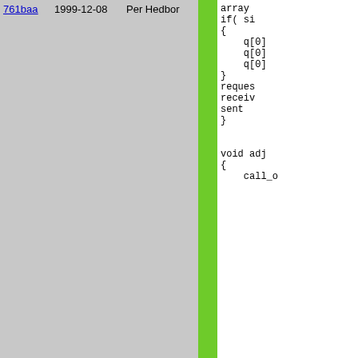| hash | date | author |  | code |
| --- | --- | --- | --- | --- |
| 761baa | 1999-12-08 | Per Hedbor |  | array
if( si
{
    q[0]
    q[0]
    q[0]
}
reques
receiv
sent
}


void adj
{
    call_o |
| ebdf94 | 2000-02-04 | Per Hedbor |  | // werror(
    low_a |
| 761baa | 1999-12-08 | Per Hedbor |  | }


void cre
{
    reques

    port =
    ip = i |
| 6f72d4 | 2000-02-08 | Per Hedbor |  | set_up |